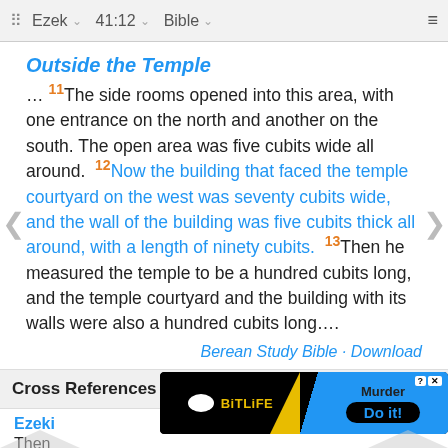⠿  Ezek  ∨    41:12  ∨    Bible  ∨    ≡
Outside the Temple
… 11 The side rooms opened into this area, with one entrance on the north and another on the south. The open area was five cubits wide all around. 12 Now the building that faced the temple courtyard on the west was seventy cubits wide, and the wall of the building was five cubits thick all around, with a length of ninety cubits. 13 Then he measured the temple to be a hundred cubits long, and the temple courtyard and the building with its walls were also a hundred cubits long....
Berean Study Bible · Download
Cross References
Ezeki  Then  it
[Figure (screenshot): BitLife mobile game advertisement banner showing logo and 'Murder Do it!' call to action]